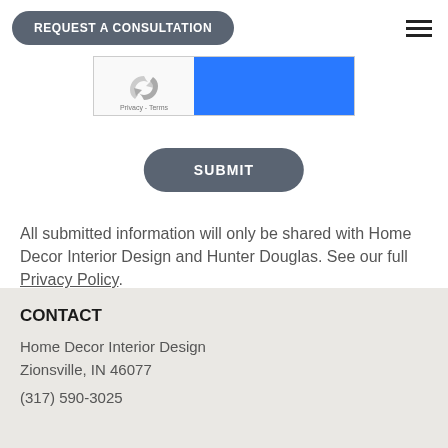REQUEST A CONSULTATION
[Figure (other): reCAPTCHA widget with logo, Privacy - Terms text on left side, and a blue button area on the right side]
SUBMIT
All submitted information will only be shared with Home Decor Interior Design and Hunter Douglas. See our full Privacy Policy.
CONTACT
Home Decor Interior Design
Zionsville, IN 46077
(317) 590-3025